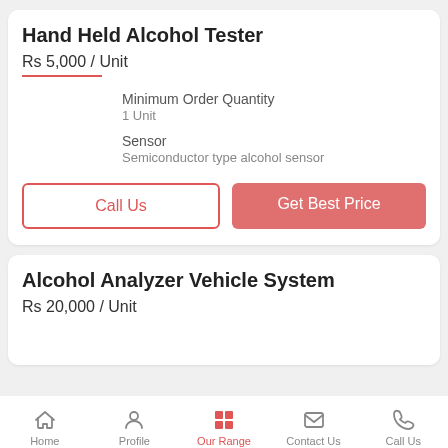Hand Held Alcohol Tester
Rs 5,000 / Unit
Minimum Order Quantity
1 Unit
Sensor
Semiconductor type alcohol sensor
Call Us
Get Best Price
Alcohol Analyzer Vehicle System
Rs 20,000 / Unit
Home  Profile  Our Range  Contact Us  Call Us